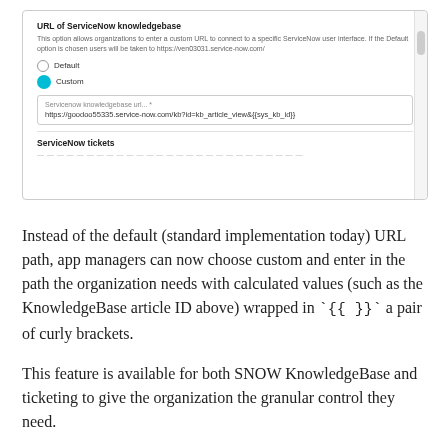[Figure (screenshot): Screenshot of a ServiceNow knowledgebase URL configuration UI showing a field labeled 'URL of ServiceNow knowledgebase' with a description, Default and Custom radio buttons (Custom selected), and a text input containing 'https://goodoo55335.service-now.com/kb?id=kb_article_view&{{sys_kb_id}}', followed by a 'ServiceNow tickets' section header.]
Instead of the default (standard implementation today) URL path, app managers can now choose custom and enter in the path the organization needs with calculated values (such as the KnowledgeBase article ID above) wrapped in `{{ }}` a pair of curly brackets.
This feature is available for both SNOW KnowledgeBase and ticketing to give the organization the granular control they need.